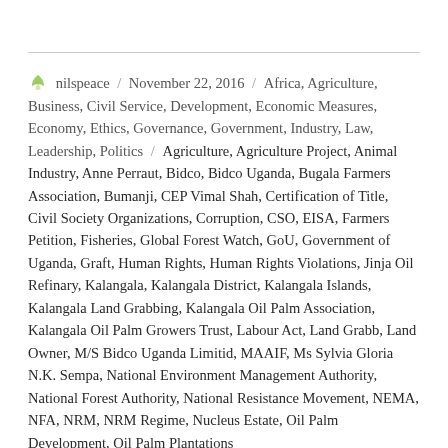nilspeace / November 22, 2016 / Africa, Agriculture, Business, Civil Service, Development, Economic Measures, Economy, Ethics, Governance, Government, Industry, Law, Leadership, Politics / Agriculture, Agriculture Project, Animal Industry, Anne Perraut, Bidco, Bidco Uganda, Bugala Farmers Association, Bumanji, CEP Vimal Shah, Certification of Title, Civil Society Organizations, Corruption, CSO, EISA, Farmers Petition, Fisheries, Global Forest Watch, GoU, Government of Uganda, Graft, Human Rights, Human Rights Violations, Jinja Oil Refinary, Kalangala, Kalangala District, Kalangala Islands, Kalangala Land Grabbing, Kalangala Oil Palm Association, Kalangala Oil Palm Growers Trust, Labour Act, Land Grabb, Land Owner, M/S Bidco Uganda Limitid, MAAIF, Ms Sylvia Gloria N.K. Sempa, National Environment Management Authority, National Forest Authority, National Resistance Movement, NEMA, NFA, NRM, NRM Regime, Nucleus Estate, Oil Palm Development, Oil Palm Plantations